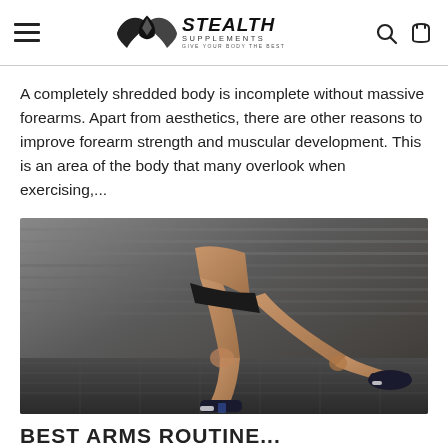STEALTH SUPPLEMENTS — GIVE YOUR BODY THE BEST
A completely shredded body is incomplete without massive forearms. Apart from aesthetics, there are other reasons to improve forearm strength and muscular development. This is an area of the body that many overlook when exercising,...
[Figure (photo): A person doing a lunge exercise in a gym, wearing black shorts and sneakers, photographed from the torso down showing legs in a lunge position on a gym floor.]
BEST ARMS ROUTINE...